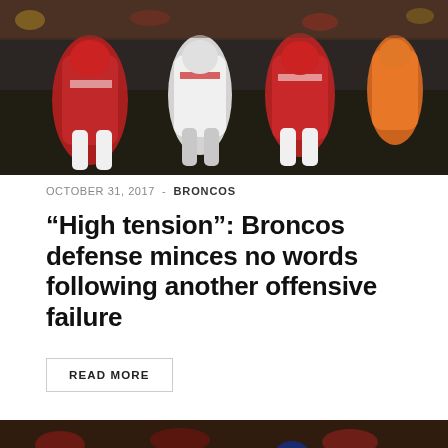[Figure (photo): Football players in red and white uniforms (Kansas City Chiefs) at line of scrimmage with a Broncos player, night game]
OCTOBER 31, 2017  -  BRONCOS
“High tension”: Broncos defense minces no words following another offensive failure
READ MORE
[Figure (photo): Broncos quarterback number 13 scrambling with the ball during a night game, Kansas City Chiefs stadium]